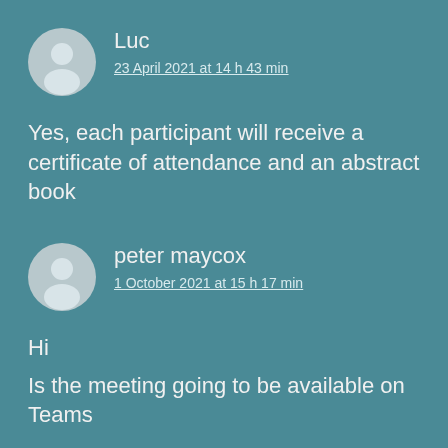Luc
23 April 2021 at 14 h 43 min
Yes, each participant will receive a certificate of attendance and an abstract book
peter maycox
1 October 2021 at 15 h 17 min
Hi
Is the meeting going to be available on Teams